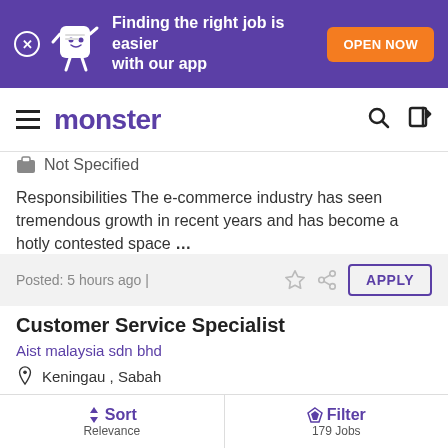[Figure (screenshot): Monster job board app banner with purple background, mascot character, text 'Finding the right job is easier with our app', and orange 'OPEN NOW' button]
monster
Not Specified
Responsibilities The e-commerce industry has seen tremendous growth in recent years and has become a hotly contested space …
Posted: 5 hours ago |
Customer Service Specialist
Aist malaysia sdn bhd
Keningau , Sabah
1-4 years
Kelayakan This job is for you if: * Multitasking is comfortable for you …
Sort Relevance | Filter 179 Jobs